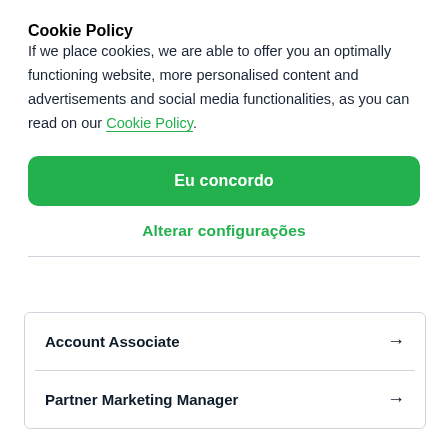Cookie Policy
If we place cookies, we are able to offer you an optimally functioning website, more personalised content and advertisements and social media functionalities, as you can read on our Cookie Policy.
Eu concordo
Alterar configurações
Account Associate →
Partner Marketing Manager →